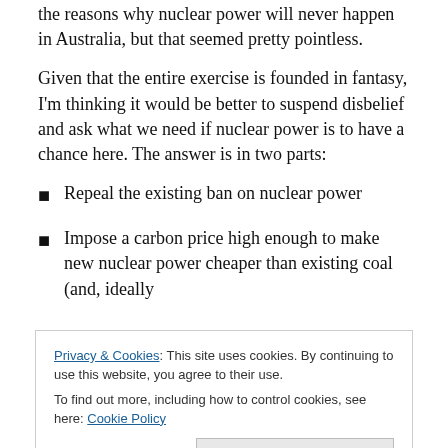the reasons why nuclear power will never happen in Australia, but that seemed pretty pointless.
Given that the entire exercise is founded in fantasy, I'm thinking it would be better to suspend disbelief and ask what we need if nuclear power is to have a chance here. The answer is in two parts:
Repeal the existing ban on nuclear power
Impose a carbon price high enough to make new nuclear power cheaper than existing coal (and, ideally
(cookie banner) Privacy & Cookies: This site uses cookies. By continuing to use this website, you agree to their use. To find out more, including how to control cookies, see here: Cookie Policy. [Close and accept button]
coal emits about 1 tonne/MWh, and costs around